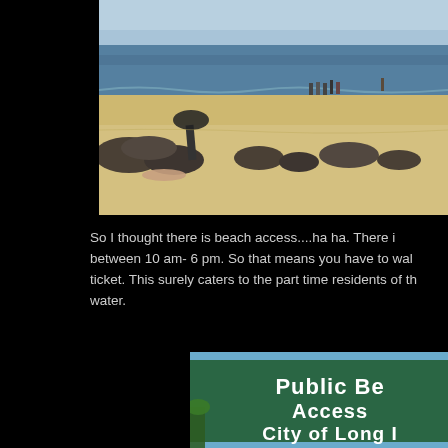[Figure (photo): Beach scene with sandy shore, dark rocks, people sunbathing and standing near the water, ocean horizon in background]
So I thought there is beach access....ha ha. There is between 10 am- 6 pm. So that means you have to walk ticket. This surely caters to the part time residents of the water.
[Figure (photo): Green sign reading 'Public Beach Access City of Long ...' partially visible]